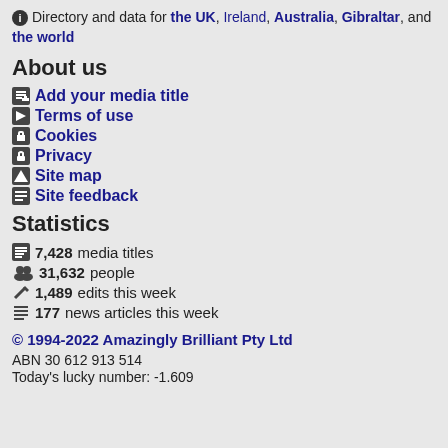Directory and data for the UK, Ireland, Australia, Gibraltar, and the world
About us
Add your media title
Terms of use
Cookies
Privacy
Site map
Site feedback
Statistics
7,428 media titles
31,632 people
1,489 edits this week
177 news articles this week
© 1994-2022 Amazingly Brilliant Pty Ltd
ABN 30 612 913 514
Today's lucky number: -1.609